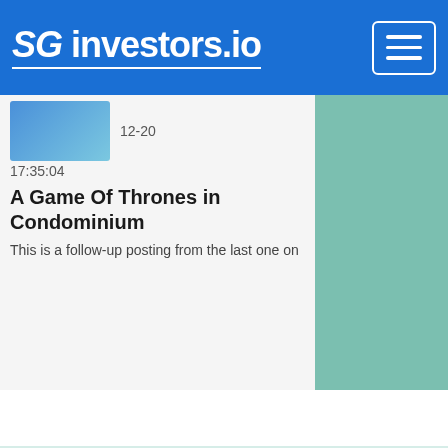SG investors.io
12-20
17:35:04
A Game Of Thrones in Condominium
This is a follow-up posting from the last one on
View the latest articles by SG investment bloggers @ Bloggers Say